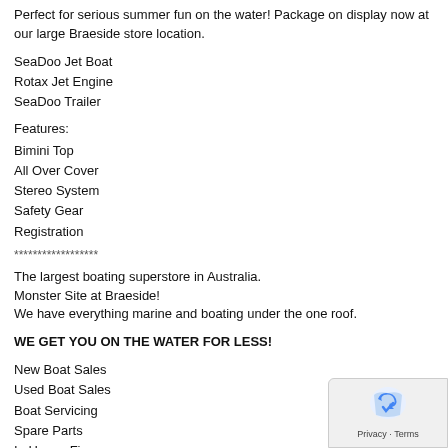Perfect for serious summer fun on the water! Package on display now at our large Braeside store location.
SeaDoo Jet Boat
Rotax Jet Engine
SeaDoo Trailer
Features:
Bimini Top
All Over Cover
Stereo System
Safety Gear
Registration
******************
The largest boating superstore in Australia.
Monster Site at Braeside!
We have everything marine and boating under the one roof.
WE GET YOU ON THE WATER FOR LESS!
New Boat Sales
Used Boat Sales
Boat Servicing
Spare Parts
In House Finance
In House Insurance
Ski Shop
Dive Shop
Cafe